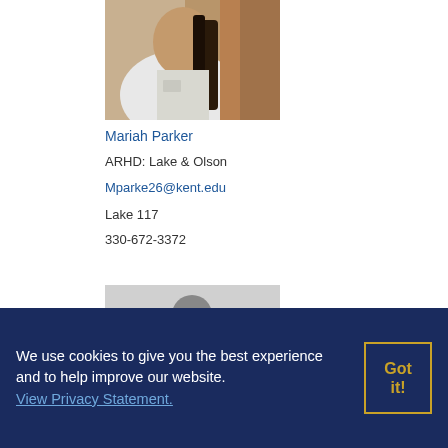[Figure (photo): Photo of Mariah Parker, a woman wearing a white shirt with braided hair, photographed outdoors]
Mariah Parker
ARHD: Lake & Olson
Mparke26@kent.edu
Lake 117
330-672-3372
[Figure (photo): Placeholder silhouette photo of a person on a grey background]
We use cookies to give you the best experience and to help improve our website. View Privacy Statement.